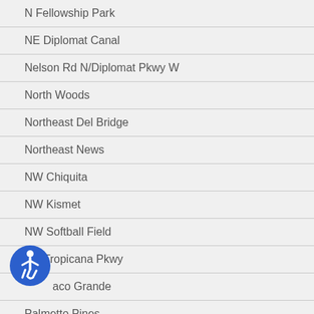N Fellowship Park
NE Diplomat Canal
Nelson Rd N/Diplomat Pkwy W
North Woods
Northeast Del Bridge
Northeast News
NW Chiquita
NW Kismet
NW Softball Field
Nw Tropicana Pkwy
Tobacco Grande
Palmetto Pines